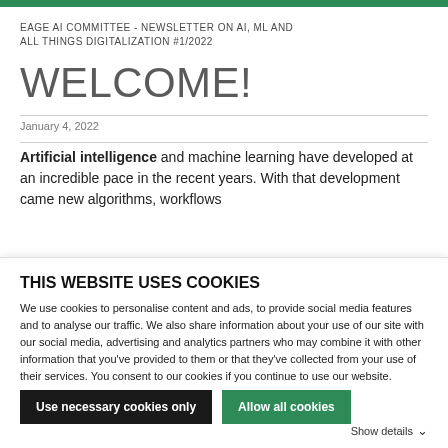EAGE AI COMMITTEE - NEWSLETTER ON AI, ML AND ALL THINGS DIGITALIZATION #1/2022
WELCOME!
January 4, 2022
Artificial intelligence and machine learning have developed at an incredible pace in the recent years. With that development came new algorithms, workflows
THIS WEBSITE USES COOKIES
We use cookies to personalise content and ads, to provide social media features and to analyse our traffic. We also share information about your use of our site with our social media, advertising and analytics partners who may combine it with other information that you've provided to them or that they've collected from your use of their services. You consent to our cookies if you continue to use our website.
Use necessary cookies only
Allow all cookies
Show details